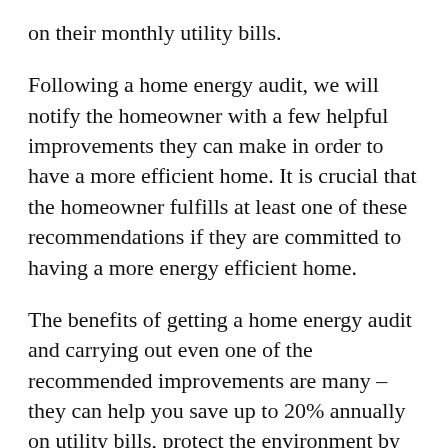on their monthly utility bills.
Following a home energy audit, we will notify the homeowner with a few helpful improvements they can make in order to have a more efficient home. It is crucial that the homeowner fulfills at least one of these recommendations if they are committed to having a more energy efficient home.
The benefits of getting a home energy audit and carrying out even one of the recommended improvements are many – they can help you save up to 20% annually on utility bills, protect the environment by reducing energy waste, and enjoy a much more comfortable and livable home atmosphere.